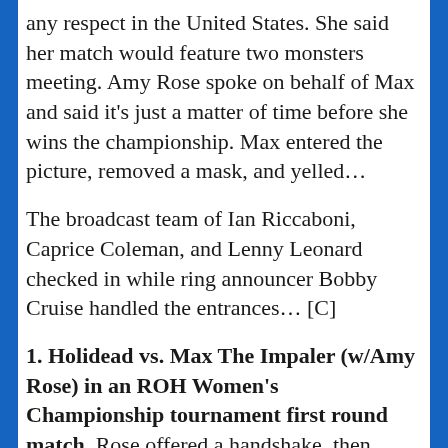any respect in the United States. She said her match would feature two monsters meeting. Amy Rose spoke on behalf of Max and said it's just a matter of time before she wins the championship. Max entered the picture, removed a mask, and yelled…
The broadcast team of Ian Riccaboni, Caprice Coleman, and Lenny Leonard checked in while ring announcer Bobby Cruise handled the entrances… [C]
1. Holidead vs. Max The Impaler (w/Amy Rose) in an ROH Women's Championship tournament first round match. Rose offered a handshake, then backed off when Holidead approached her. The broadcast team said that both women use intimidation tactics that won't be effective